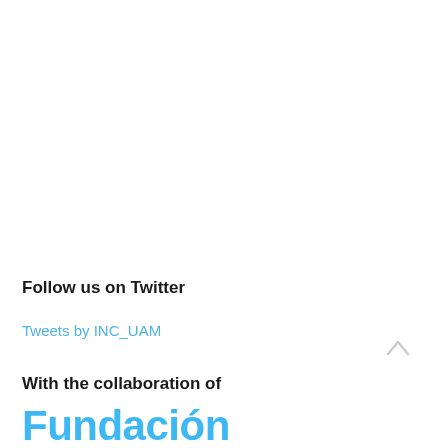Follow us on Twitter
Tweets by INC_UAM
With the collaboration of
Fundación